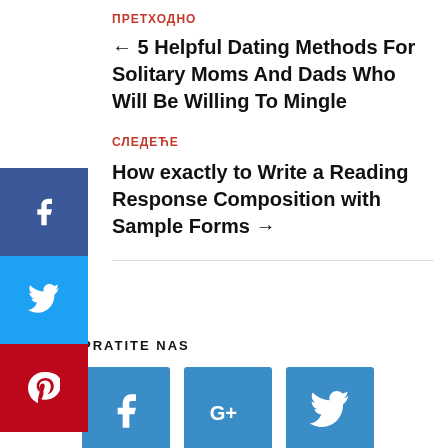ПРЕТХОДНО
← 5 Helpful Dating Methods For Solitary Moms And Dads Who Will Be Willing To Mingle
СЛЕДЕЋЕ
How exactly to Write a Reading Response Composition with Sample Forms →
PRATITE NAS
[Figure (other): Social media icon buttons: Facebook, Google+, Twitter]